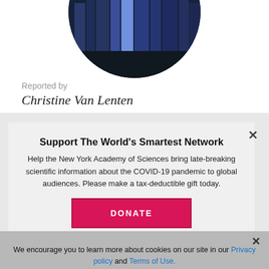[Figure (photo): Circular cropped aerial photo of a city skyline at night, showing tall illuminated skyscrapers (appears to be New York City).]
Reported by
Christine Van Lenten
Support The World's Smartest Network
Help the New York Academy of Sciences bring late-breaking scientific information about the COVID-19 pandemic to global audiences. Please make a tax-deductible gift today.
DONATE
We encourage you to learn more about cookies on our site in our Privacy policy and Terms of Use.